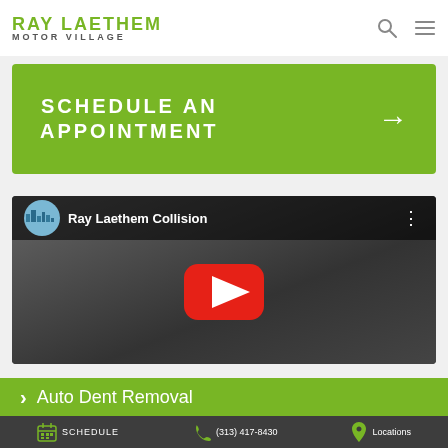RAY LAETHEM MOTOR VILLAGE
SCHEDULE AN APPOINTMENT →
[Figure (screenshot): YouTube video thumbnail for Ray Laethem Collision with play button overlay]
> Auto Dent Removal
SCHEDULE  (313) 417-8430  Locations